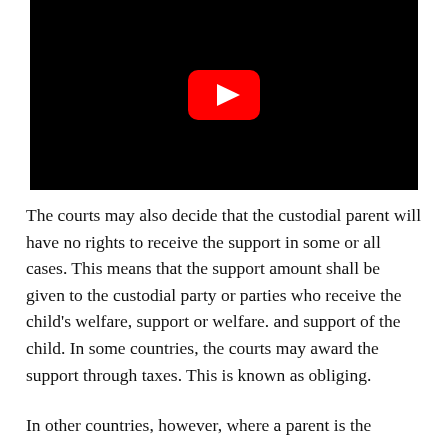[Figure (photo): Video thumbnail showing a man in a dark suit against a black background, with a YouTube play button overlay in the center.]
The courts may also decide that the custodial parent will have no rights to receive the support in some or all cases. This means that the support amount shall be given to the custodial party or parties who receive the child's welfare, support or welfare. and support of the child. In some countries, the courts may award the support through taxes. This is known as obliging.
In other countries, however, where a parent is the